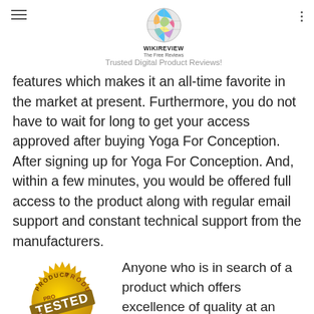WIKIREVIEW The Free Reviews — Trusted Digital Product Reviews!
features which makes it an all-time favorite in the market at present. Furthermore, you do not have to wait for long to get your access approved after buying Yoga For Conception. After signing up for Yoga For Conception. And, within a few minutes, you would be offered full access to the product along with regular email support and constant technical support from the manufacturers.
[Figure (illustration): Gold 'Product Tested Approved' seal stamp]
Anyone who is in search of a product which offers excellence of quality at an affordable rate is sure to go for Yoga For Conception. The regular email updates